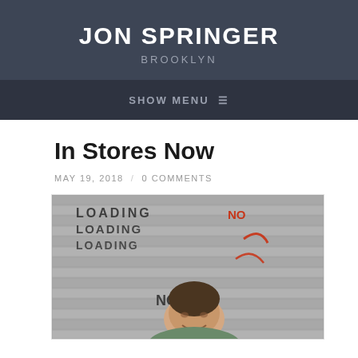JON SPRINGER
BROOKLYN
SHOW MENU ≡
In Stores Now
MAY 19, 2018 / 0 COMMENTS
[Figure (photo): A man smiling in front of a loading dock shutter door with text/graffiti markings]